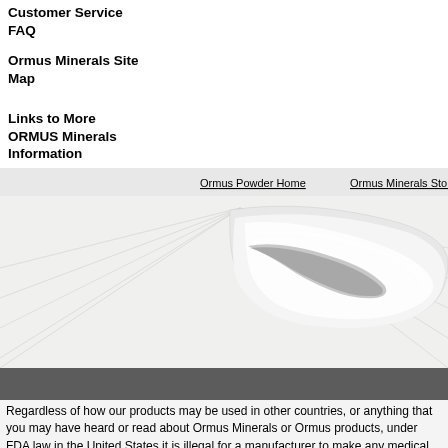Customer Service FAQ
Ormus Minerals Site Map
Links to More ORMUS Minerals Information
[Figure (illustration): Decorative abstract swirling white and grey curved shape resembling folded paper or a feather, with geometric line patterns in the background, on a white/light grey background. Navigation links 'Ormus Powder Home' and 'Ormus Minerals Store' appear at top of image area.]
Regardless of how our products may be used in other countries, or anything that you may have heard or read about Ormus Minerals or Ormus products, under FDA law in the United States it is illegal for a manufacturer to make any medical claims for health supplements. None of the products offered for sale on our website or direct to retail consumers are intended to be used in the treatment or mitigation of any disease state. All statements made by Ormus Minerals or on